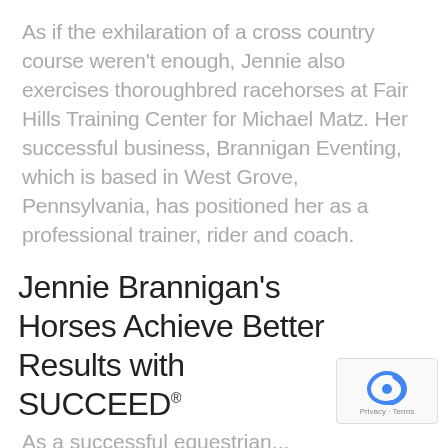As if the exhilaration of a cross country course weren't enough, Jennie also exercises thoroughbred racehorses at Fair Hills Training Center for Michael Matz. Her successful business, Brannigan Eventing, which is based in West Grove, Pennsylvania, has positioned her as a professional trainer, rider and coach.
Jennie Brannigan's Horses Achieve Better Results with SUCCEED®
As a successful equestrian...